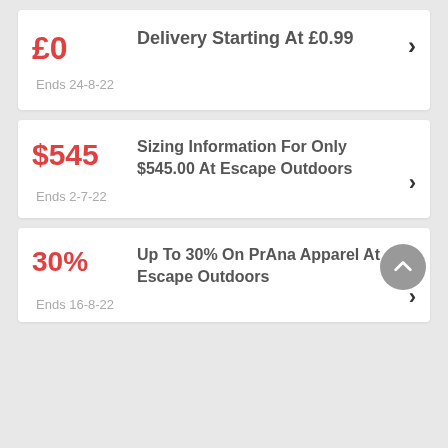£0 — Delivery Starting At £0.99
Ends 24-8-22
$545 — Sizing Information For Only $545.00 At Escape Outdoors
Ends 2-7-22
30% — Up To 30% On PrAna Apparel At Escape Outdoors
Ends 16-8-22